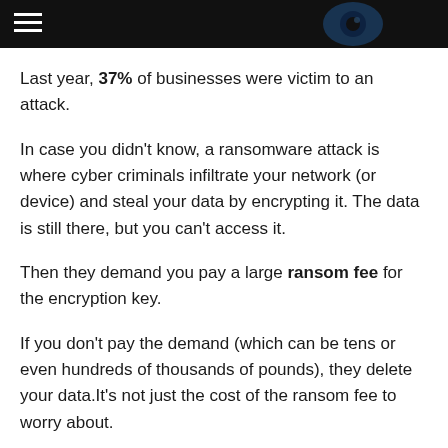[Header bar with hamburger menu and eye graphic]
Last year, 37% of businesses were victim to an attack.
In case you didn't know, a ransomware attack is where cyber criminals infiltrate your network (or device) and steal your data by encrypting it. The data is still there, but you can't access it.
Then they demand you pay a large ransom fee for the encryption key.
If you don't pay the demand (which can be tens or even hundreds of thousands of pounds), they delete your data.It's not just the cost of the ransom fee to worry about.
There's the stress, reputational damage and downtime